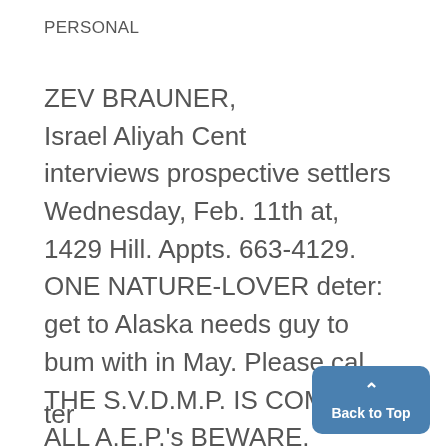PERSONAL
ZEV BRAUNER,
Israel Aliyah Cent
interviews prospective settlers
Wednesday, Feb. 11th at,
1429 Hill. Appts. 663-4129.
ONE NATURE-LOVER deter:
get to Alaska needs guy to
bum with in May. Please cal
THE S.V.D.M.P. IS COMING.]
ALL A.E.P.'s BEWARE.
ter